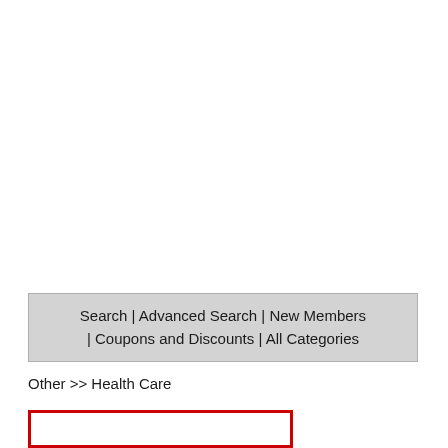Search | Advanced Search | New Members | Coupons and Discounts | All Categories
Other >> Health Care
[Figure (other): Red-bordered box (input or content region) partially visible at bottom of page]